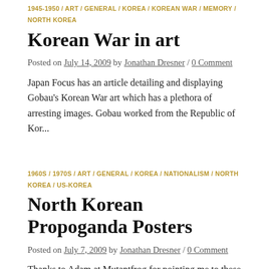1945-1950 / ART / GENERAL / KOREA / KOREAN WAR / MEMORY / NORTH KOREA
Korean War in art
Posted on July 14, 2009 by Jonathan Dresner / 0 Comment
Japan Focus has an article detailing and displaying Gobau's Korean War art which has a plethora of arresting images. Gobau worked from the Republic of Kor...
1960S / 1970S / ART / GENERAL / KOREA / NATIONALISM / NORTH KOREA / US-KOREA
North Korean Propoganda Posters
Posted on July 7, 2009 by Jonathan Dresner / 0 Comment
Thanks to Adam at Mutantfrog for pointing me to these